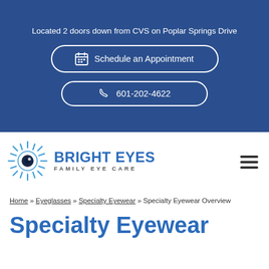Located 2 doors down from CVS on Poplar Springs Drive
Schedule an Appointment
601-202-4622
[Figure (logo): Bright Eyes Family Eye Care logo with stylized eye graphic and blue text]
Home » Eyeglasses » Specialty Eyewear » Specialty Eyewear Overview
Specialty Eyewear